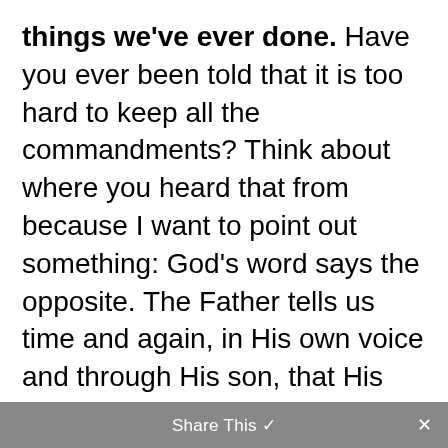things we've ever done. Have you ever been told that it is too hard to keep all the commandments? Think about where you heard that from because I want to point out something: God's word says the opposite. The Father tells us time and again, in His own voice and through His son, that His yoke is light and His burden is easy (Matthew 11:30). He tells us that His commandments are not too hard for us (Deuteronomy 30:11).
Share This ✓  ×